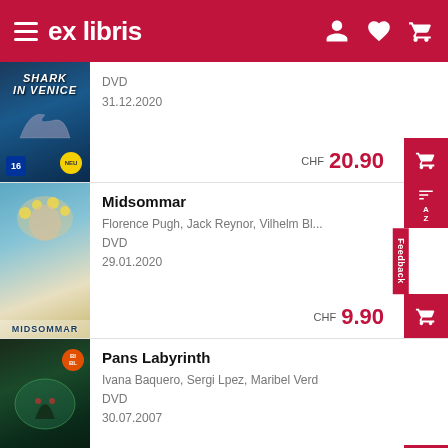ex libris
[Figure (screenshot): Shark in Venice DVD product listing with price CHF 20.90]
DVD
31.12.2020
CHF 20.90
[Figure (screenshot): Midsommar DVD product image]
Midsommar
Florence Pugh, Jack Reynor, Vilhelm Bl...
DVD
29.01.2020
CHF 9.90
[Figure (screenshot): Pans Labyrinth DVD product image]
Pans Labyrinth
Ivana Baquero, Sergi Lpez, Maribel Verd
DVD
30.07.2007
CHF 7.90